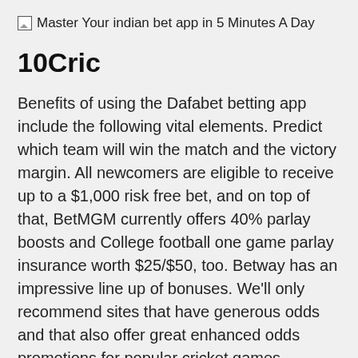Master Your indian bet app in 5 Minutes A Day
10Cric
Benefits of using the Dafabet betting app include the following vital elements. Predict which team will win the match and the victory margin. All newcomers are eligible to receive up to a $1,000 risk free bet, and on top of that, BetMGM currently offers 40% parlay boosts and College football one game parlay insurance worth $25/$50, too. Betway has an impressive line up of bonuses. We'll only recommend sites that have generous odds and that also offer great enhanced odds promotions for popular cricket games. Paripesa app Highlights. You can bet on the popular ODI type market like Man of the match, Top bowler, Toss winner, Highest score, Team to win or expand your betting range to markets like